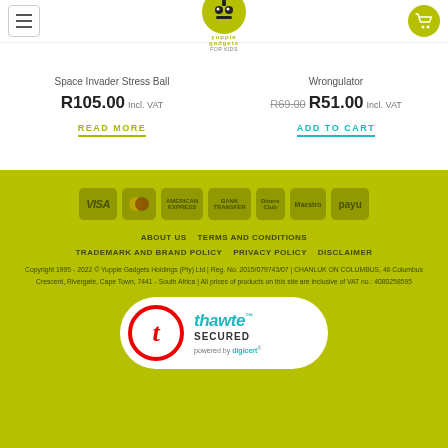Yuppie Gadgets - Navigation Bar
Space Invader Stress Ball
R105.00 Incl. VAT
READ MORE
Wrongulator
R69.00  R51.00 Incl. VAT
ADD TO CART
[Figure (logo): Payment method logos: VISA, MasterCard, American Express, Bank Transfer, Diners Club, Maestro, PayU]
ABOUT US   TERMS AND CONDITIONS   TRADEMARK AND BRAND POLICY   PRIVACY POLICY   DISCLAIMER
Copyright 1995 - 2022 © Yuppie Gadgets Holdings (Pty) Ltd | Reg. No. 2015/079743/07 | CHANLUK ON COLUMBUS, 46 Columbus Crescent, Rivergate, Cape Town, 7441 - South Africa | All prices of products on this site are inclusive of VAT no.: 4080258595
[Figure (logo): Thawte Secured powered by DigiCert badge]